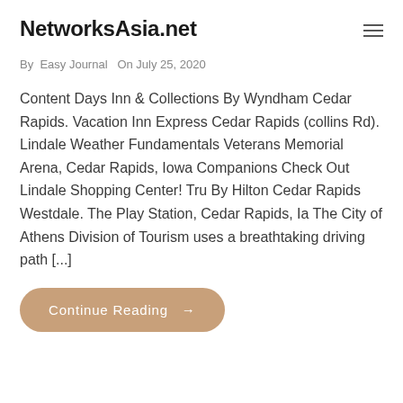NetworksAsia.net
By Easy Journal  On July 25, 2020
Content Days Inn & Collections By Wyndham Cedar Rapids. Vacation Inn Express Cedar Rapids (collins Rd). Lindale Weather Fundamentals Veterans Memorial Arena, Cedar Rapids, Iowa Companions Check Out Lindale Shopping Center! Tru By Hilton Cedar Rapids Westdale. The Play Station, Cedar Rapids, Ia The City of Athens Division of Tourism uses a breathtaking driving path [...]
Continue Reading →